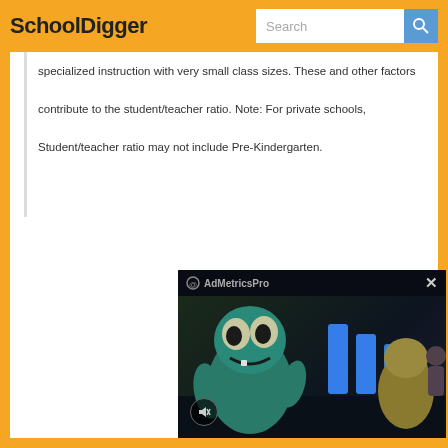SchoolDigger
specialized instruction with very small class sizes. These and other factors contribute to the student/teacher ratio. Note: For private schools, Student/teacher ratio may not include Pre-Kindergarten.
[Figure (screenshot): AdMetricsPro video ad overlay showing animated monster character with play controls and mute button on dark background]